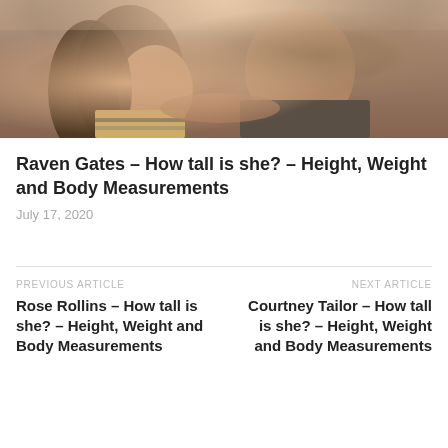[Figure (photo): A couple posing together for a photo. A woman with long dark wavy hair wearing a striped top, and a man in a dark shirt with his arm around her, both smiling.]
Raven Gates – How tall is she? – Height, Weight and Body Measurements
July 17, 2020
PREVIOUS ARTICLE
Rose Rollins – How tall is she? – Height, Weight and Body Measurements
NEXT ARTICLE
Courtney Tailor – How tall is she? – Height, Weight and Body Measurements